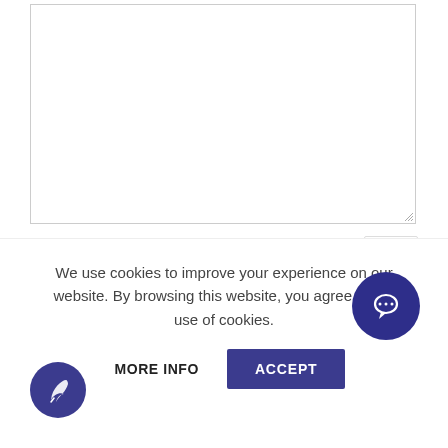[Figure (screenshot): A textarea input box (empty, white background, with resize handle at bottom-right)]
Please note, comments must be approved before they are pub
[Figure (other): Collapse/caret-up button (white box with upward chevron)]
[Figure (other): Post Comment button (outlined rounded button)]
We use cookies to improve your experience on website. By browsing this website, you agree to our use of cookies.
[Figure (other): MORE INFO button]
[Figure (other): ACCEPT button (dark blue)]
[Figure (other): Quill pen icon circle button (dark blue, bottom left)]
[Figure (other): Chat bubble icon circle button (dark blue, bottom right)]